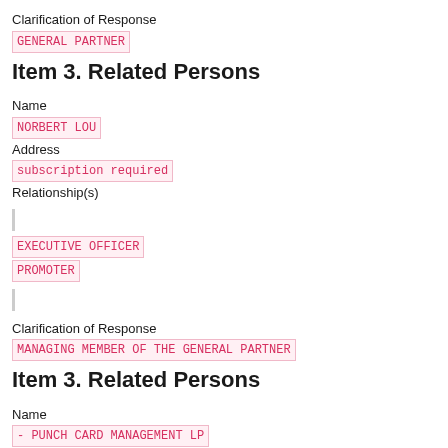Clarification of Response
GENERAL PARTNER
Item 3. Related Persons
Name
NORBERT LOU
Address
subscription required
Relationship(s)
EXECUTIVE OFFICER
PROMOTER
Clarification of Response
MANAGING MEMBER OF THE GENERAL PARTNER
Item 3. Related Persons
Name
- PUNCH CARD MANAGEMENT LP
Address
subscription required